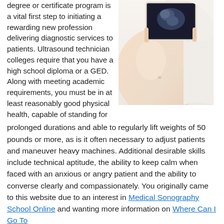degree or certificate program is a vital first step to initiating a rewarding new profession delivering diagnostic services to patients. Ultrasound technician colleges require that you have a high school diploma or a GED. Along with meeting academic requirements, you must be in at least reasonably good physical health, capable of standing for prolonged durations and able to regularly lift weights of 50 pounds or more, as is it often necessary to adjust patients and maneuver heavy machines. Additional desirable skills include technical aptitude, the ability to keep calm when faced with an anxious or angry patient and the ability to converse clearly and compassionately. You originally came to this website due to an interest in Medical Sonography School Online and wanting more information on Where Can I Go To
[Figure (photo): A pregnant woman holding an ultrasound image of a fetus against her bare belly.]